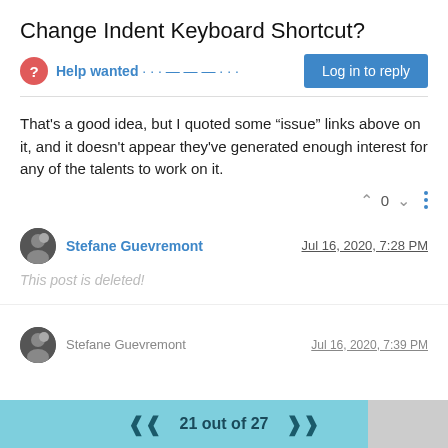Change Indent Keyboard Shortcut?
Help wanted · · · — — — · · ·
That's a good idea, but I quoted some “issue” links above on it, and it doesn't appear they've generated enough interest for any of the talents to work on it.
Stefane Guevremont
Jul 16, 2020, 7:28 PM
This post is deleted!
Stefane Guevremont
Jul 16, 2020, 7:39 PM
21 out of 27